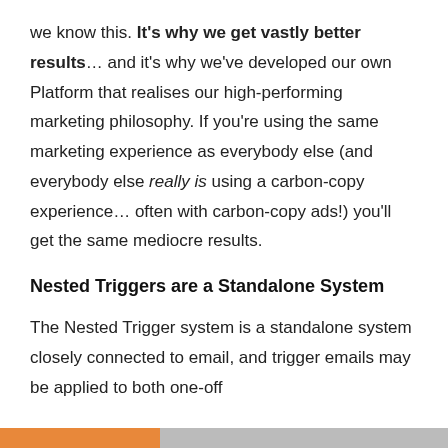we know this. It's why we get vastly better results... and it's why we've developed our own Platform that realises our high-performing marketing philosophy. If you're using the same marketing experience as everybody else (and everybody else really is using a carbon-copy experience… often with carbon-copy ads!) you'll get the same mediocre results.
Nested Triggers are a Standalone System
The Nested Trigger system is a standalone system closely connected to email, and trigger emails may be applied to both one-off